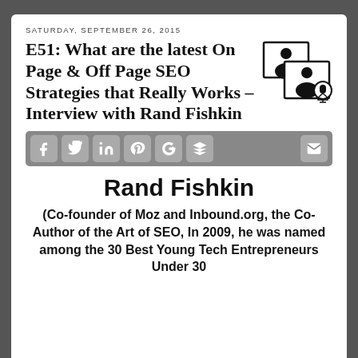SATURDAY, SEPTEMBER 26, 2015
E51: What are the latest On Page & Off Page SEO Strategies that Really Works – Interview with Rand Fishkin
[Figure (illustration): Podcast/video call icon showing two overlapping rectangles each with a person silhouette, with a microphone badge]
[Figure (infographic): Social sharing bar with icons for Facebook, Twitter, LinkedIn, Pinterest, Google+, Buffer/layers, and Email]
Rand Fishkin
(Co-founder of Moz and Inbound.org, the Co-Author of the Art of SEO, In 2009, he was named among the 30 Best Young Tech Entrepreneurs Under 30